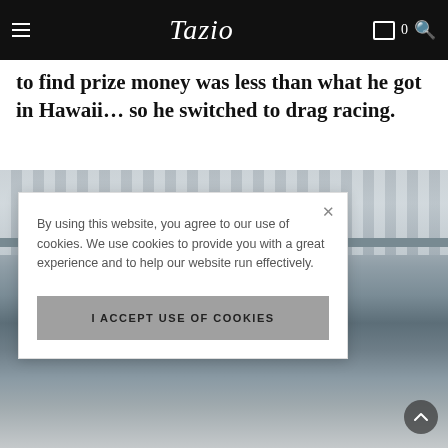Tazio
to find prize money was less than what he got in Hawaii… so he switched to drag racing.
[Figure (photo): Grandstand seating area with grey bleachers and metal railing, background of a racing venue]
By using this website, you agree to our use of cookies. We use cookies to provide you with a great experience and to help our website run effectively.
I ACCEPT USE OF COOKIES